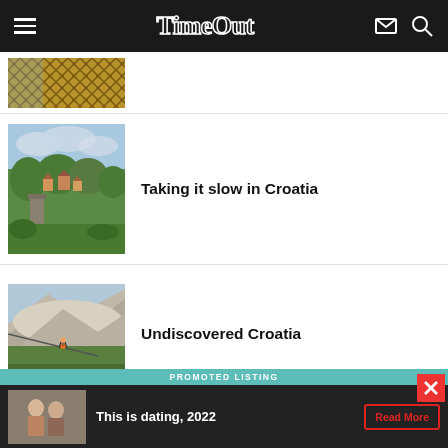Time Out
[Figure (photo): Partial view of a person wearing a patterned yellow/brown outfit, cropped article thumbnail]
[Figure (photo): Aerial view of a Croatian hilltop village with ruins and lush green countryside]
Taking it slow in Croatia
[Figure (photo): Person zip-lining over rocky terrain with dramatic cliffs and landscape in background]
Undiscovered Croatia
[Figure (photo): Promoted listing ad showing a couple, text: This is dating, 2022, with Read More button]